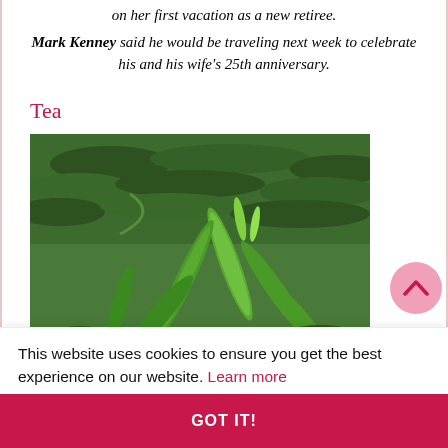on her first vacation as a new retiree. Mark Kenney said he would be traveling next week to celebrate his and his wife's 25th anniversary.
Tea
[Figure (photo): A tea plantation with lush green tea plants in the foreground and rows of tea bushes covering hillside terraces in the background.]
This website uses cookies to ensure you get the best experience on our website. Learn more
GOT IT!